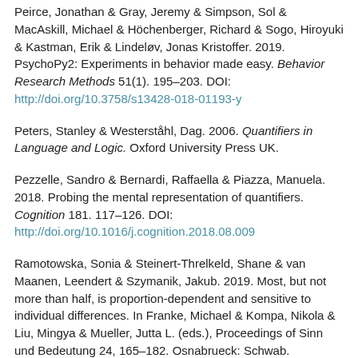Peirce, Jonathan & Gray, Jeremy & Simpson, Sol & MacAskill, Michael & Höchenberger, Richard & Sogo, Hiroyuki & Kastman, Erik & Lindeløv, Jonas Kristoffer. 2019. PsychoPy2: Experiments in behavior made easy. Behavior Research Methods 51(1). 195–203. DOI: http://doi.org/10.3758/s13428-018-01193-y
Peters, Stanley & Westerståhl, Dag. 2006. Quantifiers in Language and Logic. Oxford University Press UK.
Pezzelle, Sandro & Bernardi, Raffaella & Piazza, Manuela. 2018. Probing the mental representation of quantifiers. Cognition 181. 117–126. DOI: http://doi.org/10.1016/j.cognition.2018.08.009
Ramotowska, Sonia & Steinert-Threlkeld, Shane & van Maanen, Leendert & Szymanik, Jakub. 2019. Most, but not more than half, is proportion-dependent and sensitive to individual differences. In Franke, Michael & Kompa, Nikola & Liu, Mingya & Mueller, Jutta L. (eds.), Proceedings of Sinn und Bedeutung 24, 165–182. Osnabrueck: Schwab.